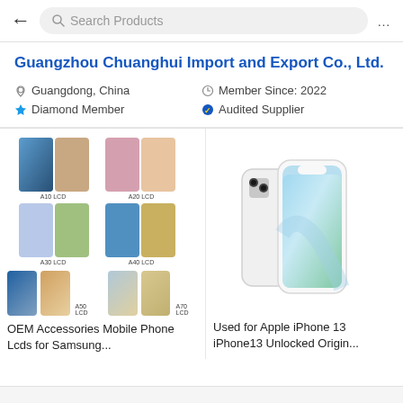Search Products
Guangzhou Chuanghui Import and Export Co., Ltd.
Guangdong, China
Member Since: 2022
Diamond Member
Audited Supplier
[Figure (photo): Product listing thumbnail showing Samsung LCD screens for models A10, A20, A30, A40, A50, A70 arranged in a grid]
OEM Accessories Mobile Phone Lcds for Samsung...
[Figure (photo): Product listing thumbnail showing Apple iPhone 13 in white color, front and back view]
Used for Apple iPhone 13 iPhone13 Unlocked Origin...